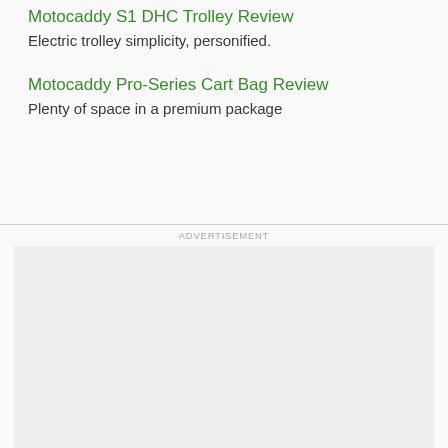Motocaddy S1 DHC Trolley Review
Electric trolley simplicity, personified.
Motocaddy Pro-Series Cart Bag Review
Plenty of space in a premium package
ADVERTISEMENT
[Figure (other): Advertisement placeholder box, light grey background]